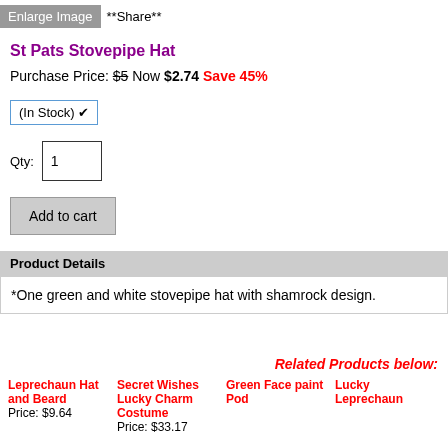Enlarge Image **Share**
St Pats Stovepipe Hat
Purchase Price: $5 Now $2.74 Save 45%
(In Stock) ▾
Qty: 1
Add to cart
Product Details
*One green and white stovepipe hat with shamrock design.
Related Products below:
Leprechaun Hat and Beard
Price: $9.64
Secret Wishes Lucky Charm Costume
Price: $33.17
Green Face paint Pod
Lucky Leprechaun